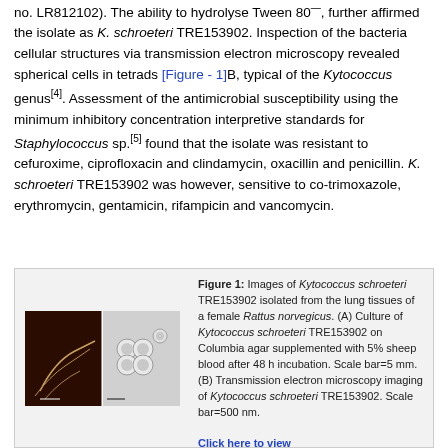no. LR812102). The ability to hydrolyse Tween 80[—], further affirmed the isolate as K. schroeteri TRE153902. Inspection of the bacteria cellular structures via transmission electron microscopy revealed spherical cells in tetrads [Figure - 1]B, typical of the Kytococcus genus[4]. Assessment of the antimicrobial susceptibility using the minimum inhibitory concentration interpretive standards for Staphylococcus sp.[5] found that the isolate was resistant to cefuroxime, ciprofloxacin and clindamycin, oxacillin and penicillin. K. schroeteri TRE153902 was however, sensitive to co-trimoxazole, erythromycin, gentamicin, rifampicin and vancomycin.
[Figure (photo): Two-panel microscopy image: left panel shows dark background with culture, right panel shows spherical cells in tetrads under electron microscopy.]
Figure 1: Images of Kytococcus schroeteri TRE153902 isolated from the lung tissues of a female Rattus norvegicus. (A) Culture of Kytococcus schroeteri TRE153902 on Columbia agar supplemented with 5% sheep blood after 48 h incubation. Scale bar=5 mm. (B) Transmission electron microscopy imaging of Kytococcus schroeteri TRE153902. Scale bar=500 nm.